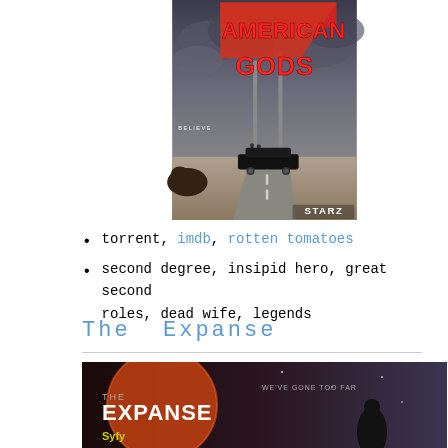[Figure (photo): American Gods TV show poster showing STARZ logo with neon sign reading AMERICAN GODS and two figures near a car on a road with dark cloudy sky and a buffalo. Text 'BELIEVE' visible on left side.]
torrent, imdb, rotten tomatoes
second degree, insipid hero, great second roles, dead wife, legends
The Expanse
[Figure (photo): The Expanse TV show poster showing Syfy logo with planet and figure silhouette, text 'WE'VE GONE TOO FAR']